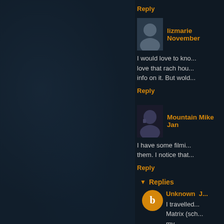Reply
lizmarie  November
I would love to kno... love that rach hou... info on it. But wold...
Reply
Mountain Mike  Jan
I have some filmi... them. I notice that...
Reply
Replies
Unknown  J...
I travelled... Matrix (sch... my http://www...